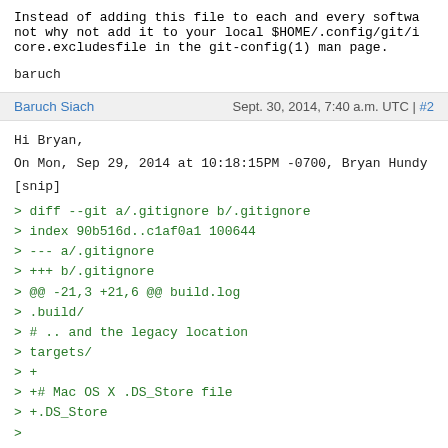Instead of adding this file to each and every softwa
not why not add it to your local $HOME/.config/git/ig
core.excludesfile in the git-config(1) man page.
baruch
Baruch Siach   Sept. 30, 2014, 7:40 a.m. UTC | #2
Hi Bryan,
On Mon, Sep 29, 2014 at 10:18:15PM -0700, Bryan Hundy
[snip]
> diff --git a/.gitignore b/.gitignore
> index 90b516d..c1af0a1 100644
> --- a/.gitignore
> +++ b/.gitignore
> @@ -21,3 +21,6 @@ build.log
> .build/
> # .. and the legacy location
> targets/
> +
> +# Mac OS X .DS_Store file
> +.DS_Store
> 
> 
> Instead of adding this file to each and every softu
> why
> not why not add it to your local $HOME/.config/git